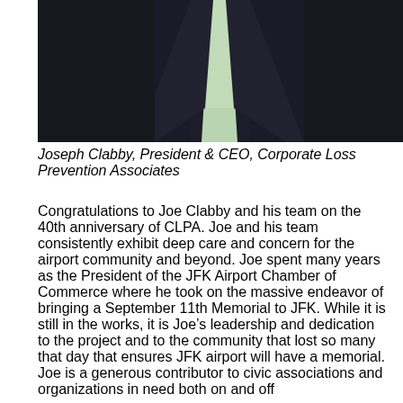[Figure (photo): Partial photo of a man in a dark suit with a light green tie, cropped at the shoulders and chin, showing the front of his torso and tie]
Joseph Clabby, President & CEO, Corporate Loss Prevention Associates
Congratulations to Joe Clabby and his team on the 40th anniversary of CLPA. Joe and his team consistently exhibit deep care and concern for the airport community and beyond. Joe spent many years as the President of the JFK Airport Chamber of Commerce where he took on the massive endeavor of bringing a September 11th Memorial to JFK. While it is still in the works, it is Joe's leadership and dedication to the project and to the community that lost so many that day that ensures JFK airport will have a memorial. Joe is a generous contributor to civic associations and organizations in need both on and off the airport including the JFK Chamber of Commerce...